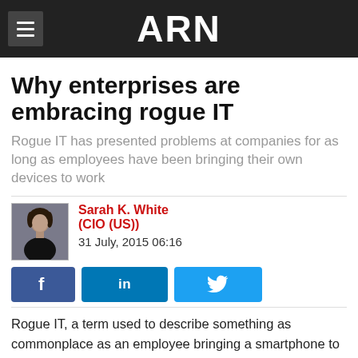ARN
Why enterprises are embracing rogue IT
Rogue IT has presented problems at companies for as long as employees have been bringing their own devices to work
Sarah K. White (CIO (US))
31 July, 2015 06:16
[Figure (other): Author photo of Sarah K. White, a woman with dark hair wearing black]
Rogue IT, a term used to describe something as commonplace as an employee bringing a smartphone to work or using a Cloud-based service to back up files, exists